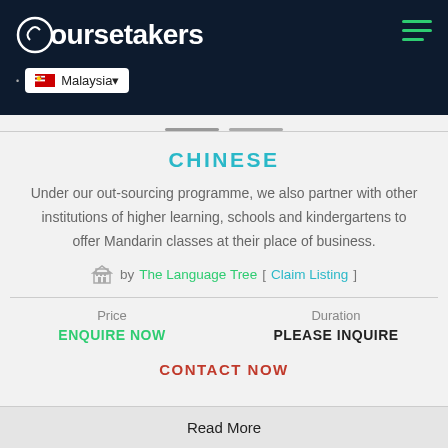coursetakers — Malaysia
CHINESE
Under our out-sourcing programme, we also partner with other institutions of higher learning, schools and kindergartens to offer Mandarin classes at their place of business.
by The Language Tree [ Claim Listing ]
Price
ENQUIRE NOW
Duration
PLEASE INQUIRE
CONTACT NOW
Read More